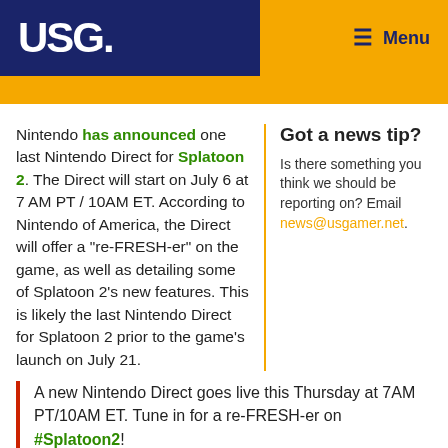USG   Menu
Nintendo has announced one last Nintendo Direct for Splatoon 2. The Direct will start on July 6 at 7 AM PT / 10AM ET. According to Nintendo of America, the Direct will offer a "re-FRESH-er" on the game, as well as detailing some of Splatoon 2's new features. This is likely the last Nintendo Direct for Splatoon 2 prior to the game's launch on July 21.
Got a news tip?
Is there something you think we should be reporting on? Email news@usgamer.net.
A new Nintendo Direct goes live this Thursday at 7AM PT/10AM ET. Tune in for a re-FRESH-er on #Splatoon2!
https://t.co/sVsqDLEOcv
pic.twitter.com/AnWOJiivOi